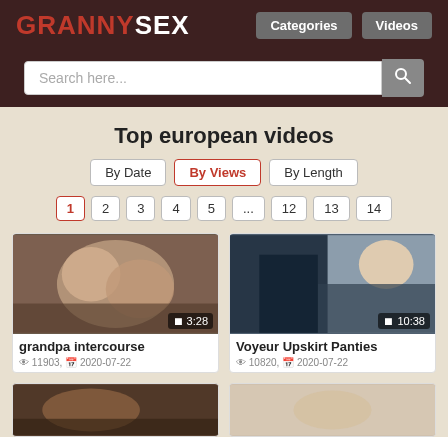GRANNYSEX | Categories | Videos
Search here...
Top european videos
By Date | By Views | By Length
1 2 3 4 5 ... 12 13 14
[Figure (photo): Video thumbnail: grandpa intercourse, duration 3:28]
grandpa intercourse
11903, 2020-07-22
[Figure (photo): Video thumbnail: Voyeur Upskirt Panties, duration 10:38]
Voyeur Upskirt Panties
10820, 2020-07-22
[Figure (photo): Video thumbnail bottom row left (partial)]
[Figure (photo): Video thumbnail bottom row right (partial)]